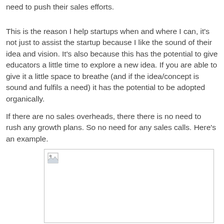need to push their sales efforts.
This is the reason I help startups when and where I can, it's not just to assist the startup because I like the sound of their idea and vision. It's also because this has the potential to give educators a little time to explore a new idea. If you are able to give it a little space to breathe (and if the idea/concept is sound and fulfils a need) it has the potential to be adopted organically.
If there are no sales overheads, there there is no need to rush any growth plans. So no need for any sales calls. Here's an example.
[Figure (photo): Broken image placeholder inside a bordered box]